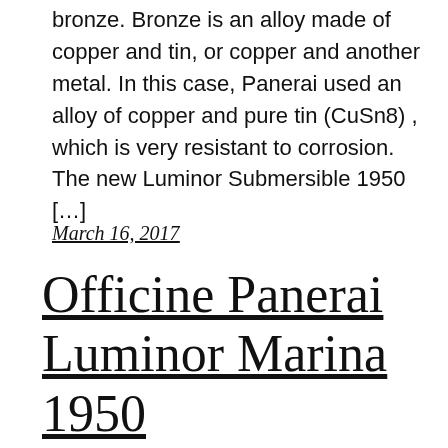bronze. Bronze is an alloy made of copper and tin, or copper and another metal. In this case, Panerai used an alloy of copper and pure tin (CuSn8) , which is very resistant to corrosion. The new Luminor Submersible 1950 […]
March 16, 2017
Officine Panerai Luminor Marina 1950